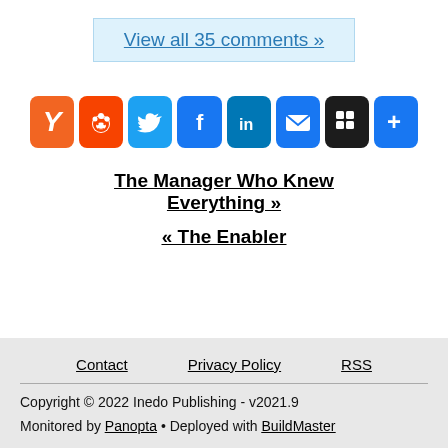View all 35 comments »
[Figure (other): Social sharing icon buttons: Y (Hacker News), Reddit, Twitter, Facebook, LinkedIn, Email, MySpace/Myspace, Plus/More]
The Manager Who Knew Everything »
« The Enabler
Contact   Privacy Policy   RSS
Copyright © 2022 Inedo Publishing - v2021.9
Monitored by Panopta • Deployed with BuildMaster